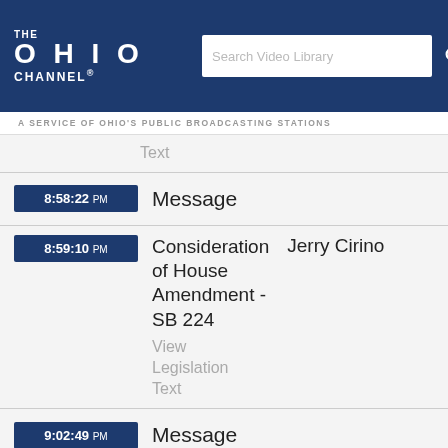THE OHIO CHANNEL
A SERVICE OF OHIO'S PUBLIC BROADCASTING STATIONS
Text
8:58:22 PM  Message
8:59:10 PM  Consideration of House Amendment - SB 224  Jerry Cirino
View Legislation Text
9:02:49 PM  Message
9:03:38 PM  Consideration of House Amendment - SB 225  Kirk Schuring
View